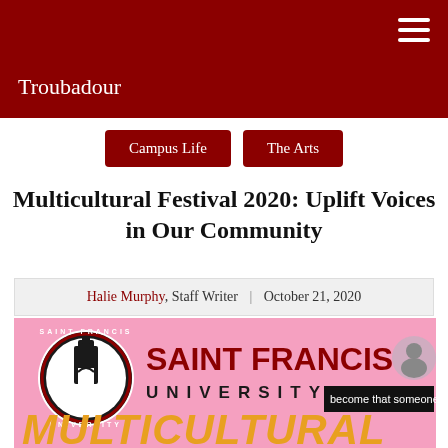Troubadour
Campus Life
The Arts
Multicultural Festival 2020: Uplift Voices in Our Community
Halie Murphy, Staff Writer | October 21, 2020
[Figure (photo): Saint Francis University logo and branding on pink background with text 'become that someone', and partial 'MULTICULTURAL' text in orange at the bottom]